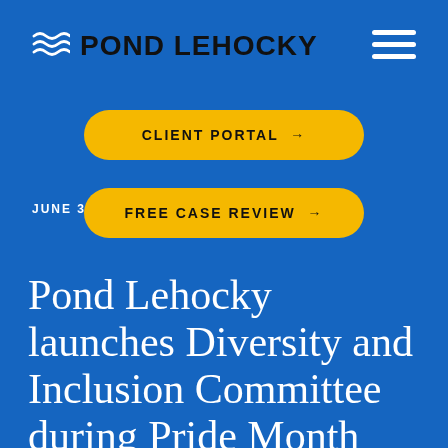[Figure (logo): Pond Lehocky law firm logo with wave icon and firm name, plus hamburger menu icon on right]
CLIENT PORTAL →
JUNE 30, 2
FREE CASE REVIEW →
Pond Lehocky launches Diversity and Inclusion Committee during Pride Month